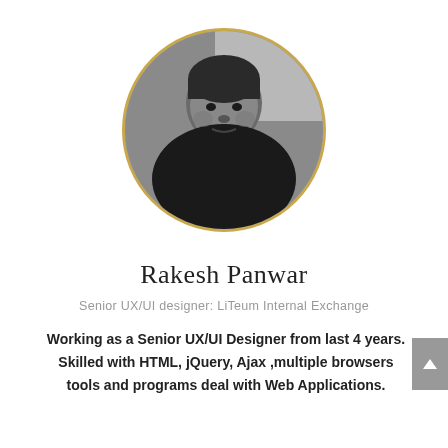[Figure (photo): Circular black and white portrait photo of Rakesh Panwar with a gold/yellow circular border]
Rakesh Panwar
Senior UX/UI designer: LiTeum Internal Exchange
Working as a Senior UX/UI Designer from last 4 years. Skilled with HTML, jQuery, Ajax ,multiple browsers tools and programs deal with Web Applications.